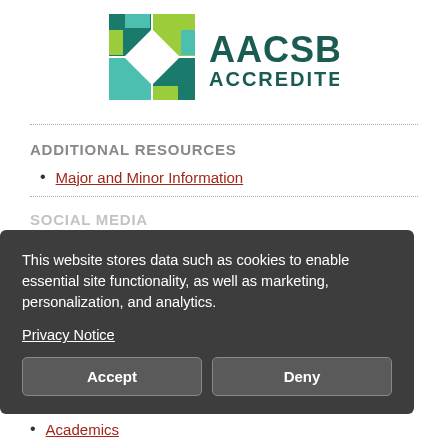[Figure (logo): AACSB Accredited logo with colorful diamond/cube graphic and teal AACSB ACCREDITED text]
ADDITIONAL RESOURCES
Major and Minor Information
SOCIAL MEDIA
This website stores data such as cookies to enable essential site functionality, as well as marketing, personalization, and analytics.
Privacy Notice
Accept   Deny
Academics